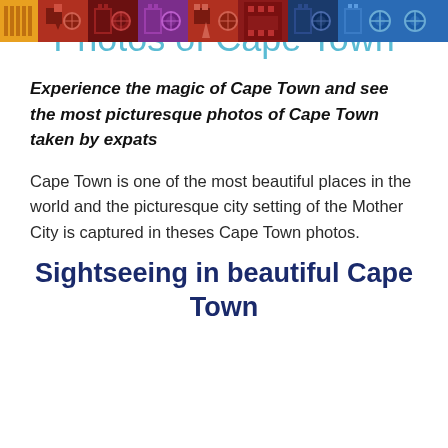[Figure (illustration): Decorative header banner with colorful African-style geometric patterns in orange, red, dark red, purple, and blue segments]
Photos of Cape Town
Experience the magic of Cape Town and see the most picturesque photos of Cape Town taken by expats
Cape Town is one of the most beautiful places in the world and the picturesque city setting of the Mother City is captured in theses Cape Town photos.
Sightseeing in beautiful Cape Town